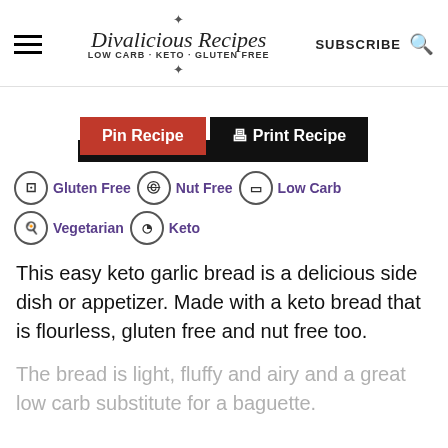Divalicious Recipes LOW CARB - KETO - GLUTEN FREE | SUBSCRIBE
Pin Recipe | Print Recipe
Gluten Free  Nut Free  Low Carb  Vegetarian  Keto
This easy keto garlic bread is a delicious side dish or appetizer. Made with a keto bread that is flourless, gluten free and nut free too.
The bread is light, fluffy and airy and a great low carb substitute for a baguette.